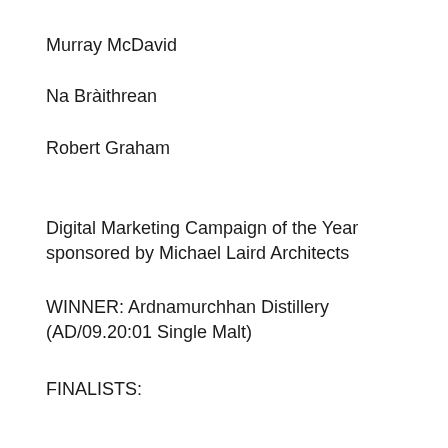Murray McDavid
Na Bràithrean
Robert Graham
Digital Marketing Campaign of the Year sponsored by Michael Laird Architects
WINNER: Ardnamurchhan Distillery (AD/09.20:01 Single Malt)
FINALISTS: